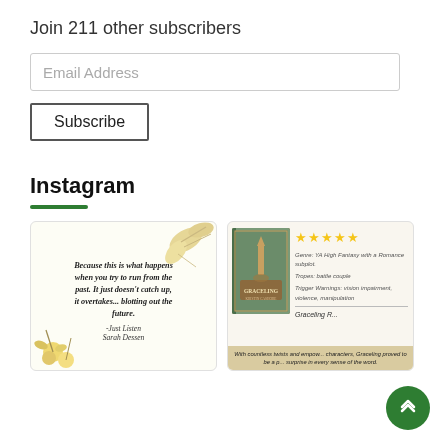Join 211 other subscribers
Email Address
Subscribe
Instagram
[Figure (illustration): Instagram post showing a quote card with floral decorations and text: 'Because this is what happens when you try to run from the past. It just doesn't catch up, it overtakes... blotting out the future. -Just Listen, Sarah Dessen']
[Figure (illustration): Instagram post showing a book review card for 'Graceling' with 5 stars, genre YA High Fantasy with a Romance subplot, tropes: battle couple, trigger warnings: vision impairment, violence, manipulation, and a review snippet.]